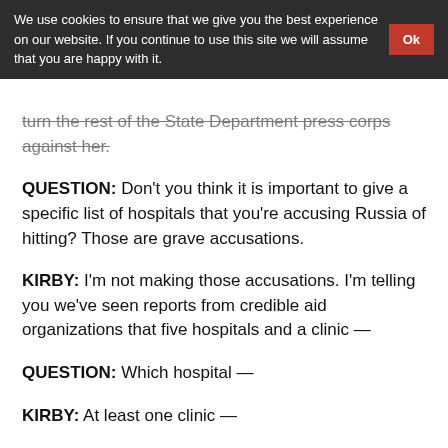We use cookies to ensure that we give you the best experience on our website. If you continue to use this site we will assume that you are happy with it. Ok
turn the rest of the State Department press corps against her.
QUESTION: Don't you think it is important to give a specific list of hospitals that you're accusing Russia of hitting? Those are grave accusations.
KIRBY: I'm not making those accusations. I'm telling you we've seen reports from credible aid organizations that five hospitals and a clinic —
QUESTION: Which hospital —
KIRBY: At least one clinic —
QUESTION: In what cities at least?
KIRBY: You can go look at the information that many of the Syrian relief agencies are putting out there publicly.